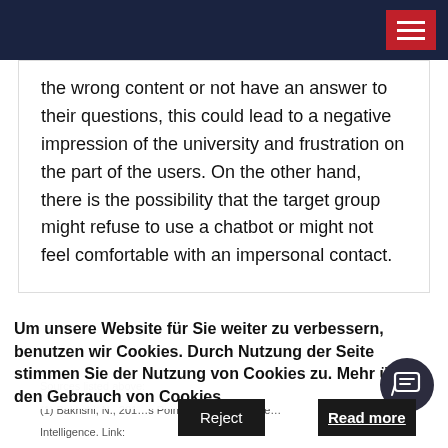the wrong content or not have an answer to their questions, this could lead to a negative impression of the university and frustration on the part of the users. On the other hand, there is the possibility that the target group might refuse to use a chatbot or might not feel comfortable with an impersonal contact.
Um unsere Website für Sie weiter zu verbessern, benutzen wir Cookies. Durch Nutzung der Seite stimmen Sie der Nutzung von Cookies zu. Mehr über den Gebrauch von Cookies.
Sources listed above:
(1) Bakhshi, N., 2019 … s Point of View – Deloitte … Intelligence. Link: